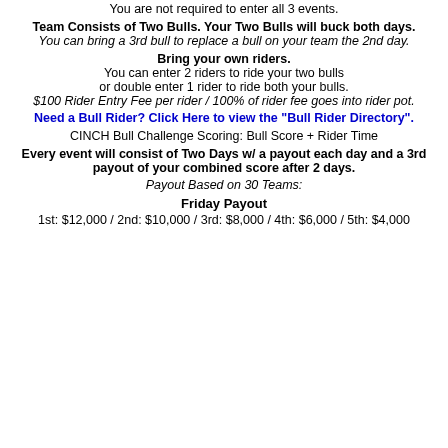You are not required to enter all 3 events.
Team Consists of Two Bulls. Your Two Bulls will buck both days. You can bring a 3rd bull to replace a bull on your team the 2nd day.
Bring your own riders. You can enter 2 riders to ride your two bulls or double enter 1 rider to ride both your bulls. $100 Rider Entry Fee per rider / 100% of rider fee goes into rider pot.
Need a Bull Rider? Click Here to view the "Bull Rider Directory".
CINCH Bull Challenge Scoring: Bull Score + Rider Time
Every event will consist of Two Days w/ a payout each day and a 3rd payout of your combined score after 2 days.
Payout Based on 30 Teams:
Friday Payout
1st: $12,000 / 2nd: $10,000 / 3rd: $8,000 / 4th: $6,000 / 5th: $4,000